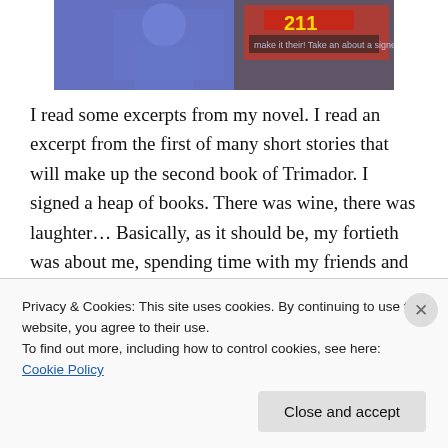[Figure (photo): Cropped photo of a person in a blue shirt at what appears to be a book event, with a sign visible in the background]
I read some excerpts from my novel. I read an excerpt from the first of many short stories that will make up the second book of Trimador. I signed a heap of books. There was wine, there was laughter… Basically, as it should be, my fortieth was about me, spending time with my friends and feeling special. I asked people not to buy me presents, but instead to buy Dwarves in Space for someone who doesn't already have a copy. I even filmed
Privacy & Cookies: This site uses cookies. By continuing to use this website, you agree to their use.
To find out more, including how to control cookies, see here: Cookie Policy
Close and accept